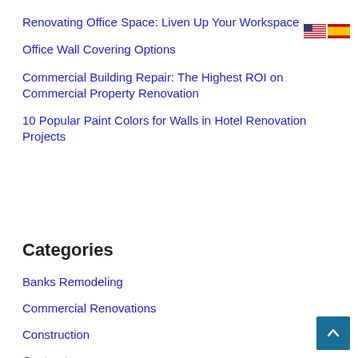Renovating Office Space: Liven Up Your Workspace
Office Wall Covering Options
Commercial Building Repair: The Highest ROI on Commercial Property Renovation
10 Popular Paint Colors for Walls in Hotel Renovation Projects
Categories
Banks Remodeling
Commercial Renovations
Construction
Contractors